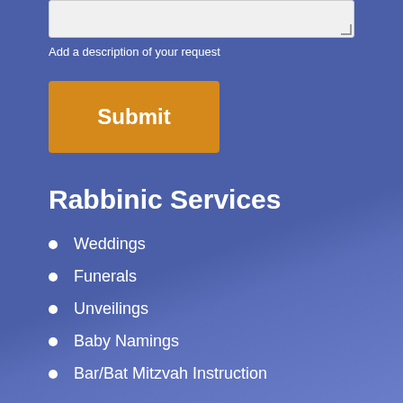Add a description of your request
Submit
Rabbinic Services
Weddings
Funerals
Unveilings
Baby Namings
Bar/Bat Mitzvah Instruction
Conversion Studies
Speech Writing
Speaking / Teaching